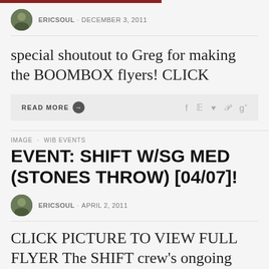ERICSOUL · DECEMBER 3, 2011
special shoutout to Greg for making the BOOMBOX flyers! CLICK
READ MORE →   f  ♥  P  g+
IMAGE · WIB EVENTS
EVENT: SHIFT W/SG MED (STONES THROW) [04/07]!
ERICSOUL · APRIL 2, 2011
CLICK PICTURE TO VIEW FULL FLYER The SHIFT crew's ongoing